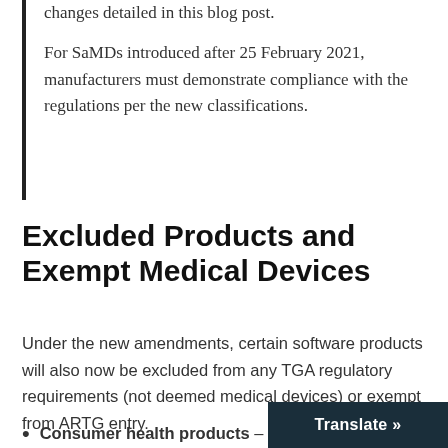changes detailed in this blog post.

For SaMDs introduced after 25 February 2021, manufacturers must demonstrate compliance with the regulations per the new classifications.
Excluded Products and Exempt Medical Devices
Under the new amendments, certain software products will also now be excluded from any TGA regulatory requirements (not deemed medical devices) or exempt from ARTG entry.
The criteria for exempt devices are as follows:
Consumer health products – prevention management and follow up de…